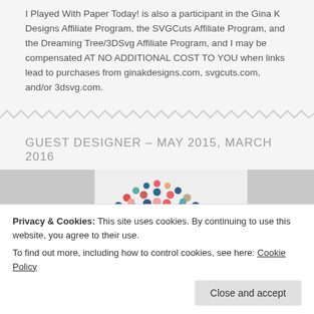I Played With Paper Today! is also a participant in the Gina K Designs Affiliate Program, the SVGCuts Affiliate Program, and the Dreaming Tree/3DSvg Affiliate Program, and I may be compensated AT NO ADDITIONAL COST TO YOU when links lead to purchases from ginakdesigns.com, svgcuts.com, and/or 3dsvg.com.
GUEST DESIGNER – MAY 2015, MARCH 2016
[Figure (illustration): Semicircle of colorful dots (pink, teal, navy, orange, tan) forming an arc logo with text 'Mod' visible, and URL http://modsquadchallenge.blogspot.com below. Side panels are grey.]
Privacy & Cookies: This site uses cookies. By continuing to use this website, you agree to their use.
To find out more, including how to control cookies, see here: Cookie Policy